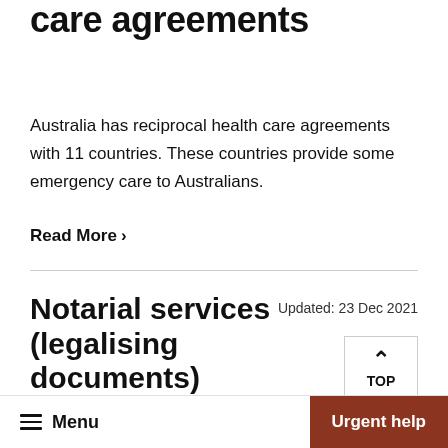care agreements
Australia has reciprocal health care agreements with 11 countries. These countries provide some emergency care to Australians.
Read More  >
Notarial services (legalising documents) overseas
Updated: 23 Dec 2021
The Department of Foreign Affairs and Trade provides notarial services overseas. We deliver
Menu   Urgent help